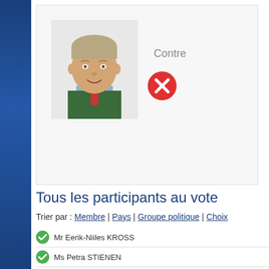[Figure (photo): Profile photo of a man wearing a green sweater and tie, middle-aged with grey-blond hair]
Contre
[Figure (infographic): Red circle with white X icon indicating vote against (Contre)]
Tous les participants au vote
Trier par : Membre | Pays | Groupe politique | Choix
Mr Eerik-Niiles KROSS
Ms Petra STIENEN
Mr Krzysztof MIESZKOWSKI
M. Gusty GRAAS
Mr Rafael HUSEYNOV